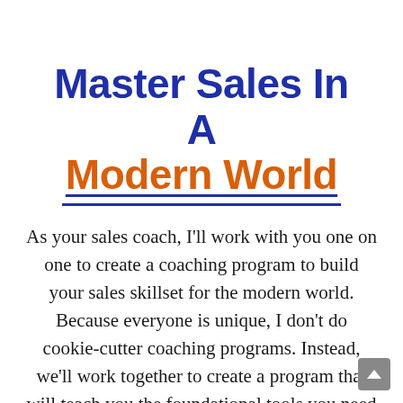Master Sales In A Modern World
As your sales coach, I'll work with you one on one to create a coaching program to build your sales skillset for the modern world. Because everyone is unique, I don't do cookie-cutter coaching programs. Instead, we'll work together to create a program that will teach you the foundational tools you need to master modern selling.